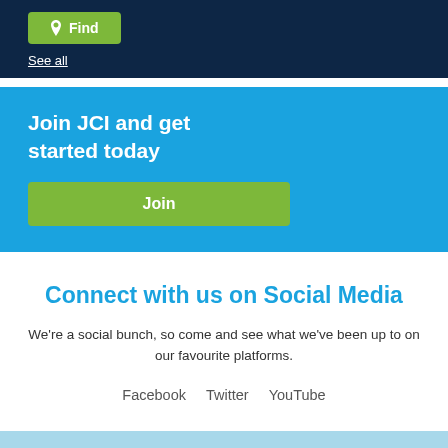Find
See all
Join JCI and get started today
Join
Connect with us on Social Media
We're a social bunch, so come and see what we've been up to on our favourite platforms.
Facebook
Twitter
YouTube